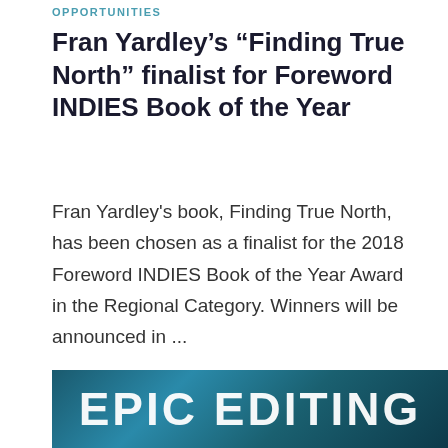OPPORTUNITIES
Fran Yardley's “Finding True North” finalist for Foreword INDIES Book of the Year
Fran Yardley's book, Finding True North, has been chosen as a finalist for the 2018 Foreword INDIES Book of the Year Award in the Regional Category. Winners will be announced in ...
CONTINUE READING
[Figure (illustration): Banner image with ocean/water texture background and large white bold text reading EPIC EDITING]